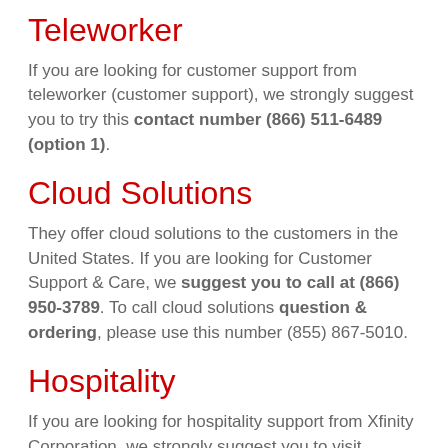Teleworker
If you are looking for customer support from teleworker (customer support), we strongly suggest you to try this contact number (866) 511-6489 (option 1).
Cloud Solutions
They offer cloud solutions to the customers in the United States. If you are looking for Customer Support & Care, we suggest you to call at (866) 950-3789. To call cloud solutions question & ordering, please use this number (855) 867-5010.
Hospitality
If you are looking for hospitality support from Xfinity Corporation, we strongly suggest you to visit customer